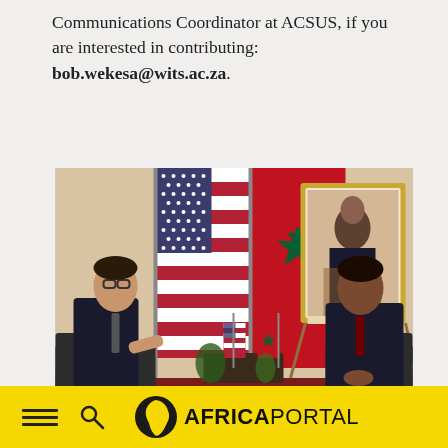Communications Coordinator at ACSUS, if you are interested in contributing: bob.wekesa@wits.ac.za.
[Figure (photo): Two men in dark suits sit across from each other in armchairs. Between them is a small table with small US and Moroccan flags. In the background are large US and Moroccan flags and a framed portrait of a man on an easel. The setting appears to be an official diplomatic meeting.]
AFRICA PORTAL